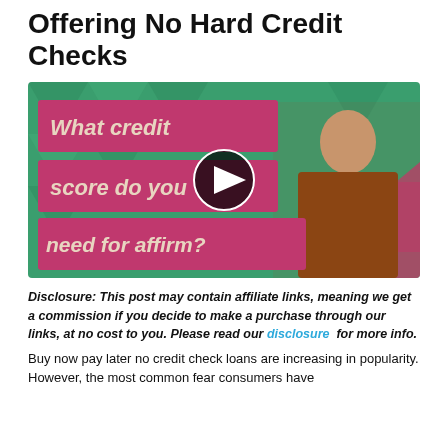Offering No Hard Credit Checks
[Figure (screenshot): Video thumbnail showing a woman in a brown top against a green background with pink/magenta text banners reading 'What credit score do you need for affirm?' with a play button overlay in the center.]
Disclosure: This post may contain affiliate links, meaning we get a commission if you decide to make a purchase through our links, at no cost to you. Please read our disclosure for more info.
Buy now pay later no credit check loans are increasing in popularity. However, the most common fear consumers have